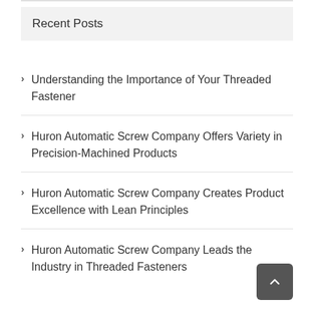Recent Posts
Understanding the Importance of Your Threaded Fastener
Huron Automatic Screw Company Offers Variety in Precision-Machined Products
Huron Automatic Screw Company Creates Product Excellence with Lean Principles
Huron Automatic Screw Company Leads the Industry in Threaded Fasteners